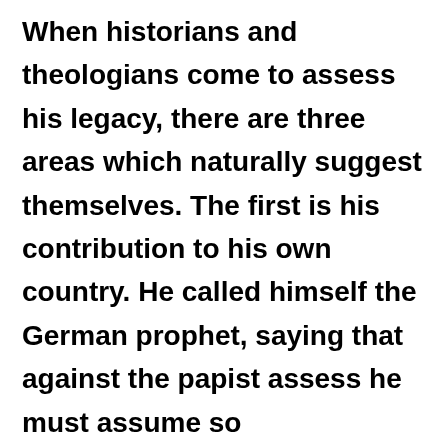When historians and theologians come to assess his legacy, there are three areas which naturally suggest themselves. The first is his contribution to his own country. He called himself the German prophet, saying that against the papist assess he must assume so presumptuous a title and he addressed himself to his beloved Germans. The claim has been made frequently that no